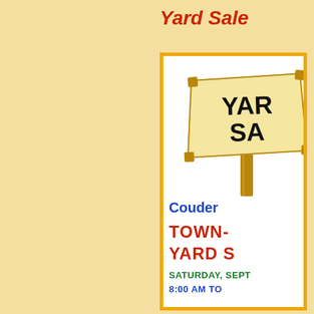Yard Sale
[Figure (illustration): Yard sale flyer illustration showing a wooden sign with 'YARD SALE' written on it in bold black text, with a decorative rustic wooden frame/post. Below the sign are colored text lines reading 'Couder...', 'TOWN-... YARD S...', 'SATURDAY, SEPT...', '8:00 AM TO...']